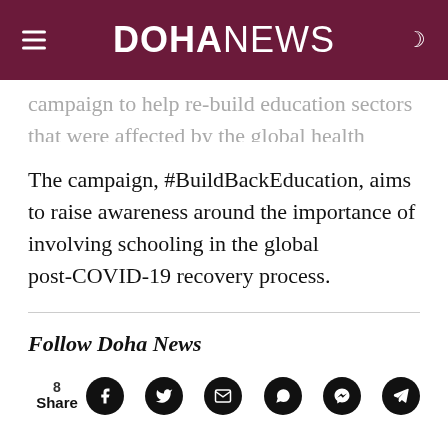DOHA NEWS
campaign to help re-build education sectors that were affected by the global health crisis.
The campaign, #BuildBackEducation, aims to raise awareness around the importance of involving schooling in the global post-COVID-19 recovery process.
Follow Doha News
8 Share